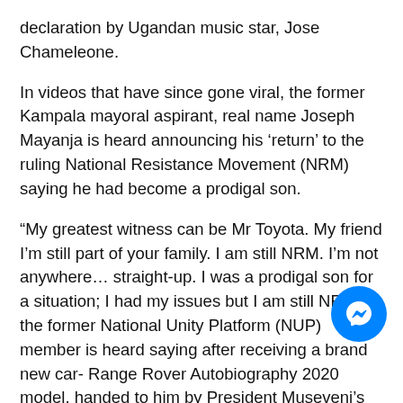declaration by Ugandan music star, Jose Chameleone.
In videos that have since gone viral, the former Kampala mayoral aspirant, real name Joseph Mayanja is heard announcing his 'return' to the ruling National Resistance Movement (NRM) saying he had become a prodigal son.
“My greatest witness can be Mr Toyota. My friend I’m still part of your family. I am still NRM. I’m not anywhere… straight-up. I was a prodigal son for a situation; I had my issues but I am still NRM,” the former National Unity Platform (NUP) member is heard saying after receiving a brand new car- Range Rover Autobiography 2020 model, handed to him by President Museveni’s young brother Nowomugisha Sedrack Nzaire Kaguta also known as Toyota, Sunday evening.
To express his gratitude, the Baliwa singer went on two knees as the crowd cheered and congratulated him.
[Figure (other): Facebook Messenger chat button (blue circle with white lightning bolt/chat icon)]